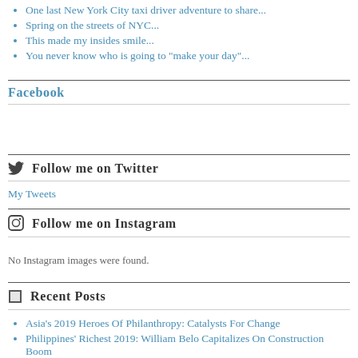One last New York City taxi driver adventure to share...
Spring on the streets of NYC...
This made my insides smile...
You never know who is going to "make your day"...
Facebook
Follow me on Twitter
My Tweets
Follow me on Instagram
No Instagram images were found.
Recent Posts
Asia's 2019 Heroes Of Philanthropy: Catalysts For Change
Philippines' Richest 2019: William Belo Capitalizes On Construction Boom